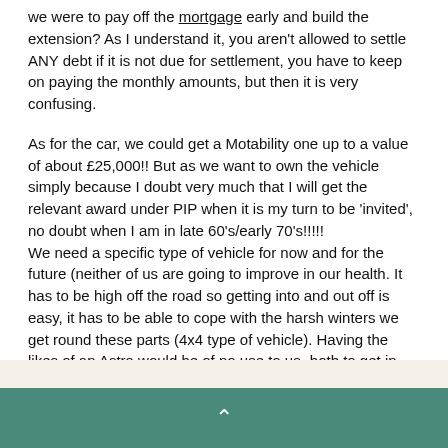we were to pay off the mortgage early and build the extension? As I understand it, you aren't allowed to settle ANY debt if it is not due for settlement, you have to keep on paying the monthly amounts, but then it is very confusing.
As for the car, we could get a Motability one up to a value of about £25,000!! But as we want to own the vehicle simply because I doubt very much that I will get the relevant award under PIP when it is my turn to be 'invited', no doubt when I am in late 60's/early 70's!!!!! We need a specific type of vehicle for now and for the future (neither of us are going to improve in our health. It has to be high off the road so getting into and out off is easy, it has to be able to cope with the harsh winters we get round these parts (4x4 type of vehicle). Having the likes of an Astra would be of no use to us -both to get in and out of it & too low down to cope with mud/snow and water on the roads. £18,000 is cheap for a vehicle of this type. To get what we would like we would have to spend in excess of £25,000 for a recent decent second hand one.